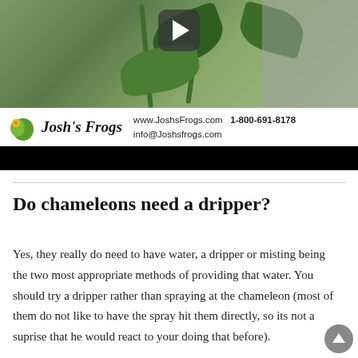[Figure (screenshot): Video thumbnail showing green plant leaves with a play button overlay, and Josh's Frogs logo bar with contact info (www.JoshsFrogs.com, 1-800-691-8178, info@Joshsfrogs.com), followed by a black bar at the bottom of the video player.]
Do chameleons need a dripper?
Yes, they really do need to have water, a dripper or misting being the two most appropriate methods of providing that water. You should try a dripper rather than spraying at the chameleon (most of them do not like to have the spray hit them directly, so its not a suprise that he would react to your doing that before).